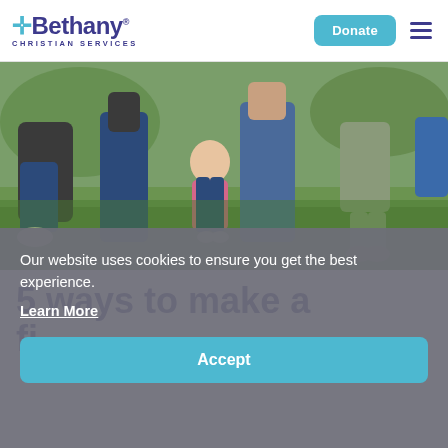Bethany Christian Services — Donate
[Figure (photo): Outdoor photo showing adults kneeling and standing on grass with children, from waist down. A child in a floral shirt stands in the center.]
5 ways to make a fi...
Our website uses cookies to ensure you get the best experience.
Learn More
Accept